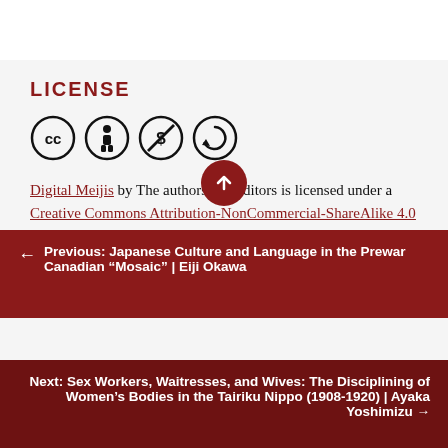LICENSE
[Figure (illustration): Creative Commons license icons: CC, BY (Attribution), NC (NonCommercial), SA (ShareAlike)]
Digital Meijis by The authors and editors is licensed under a Creative Commons Attribution-NonCommercial-ShareAlike 4.0 International License, except where otherwise
← Previous: Japanese Culture and Language in the Prewar Canadian “Mosaic” | Eiji Okawa
Next: Sex Workers, Waitresses, and Wives: The Disciplining of Women’s Bodies in the Tairiku Nippo (1908-1920) | Ayaka Yoshimizu →